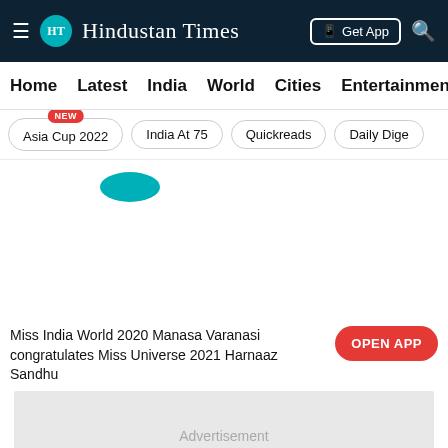HT Hindustan Times  Get App
Home  Latest  India  World  Cities  Entertainment
Asia Cup 2022 NEW
India At 75
Quickreads
Daily Dige
[Figure (photo): Partial teal circle element visible at top, image area for article photo]
Miss India World 2020 Manasa Varanasi congratulates Miss Universe 2021 Harnaaz Sandhu
OPEN APP
Advertisement